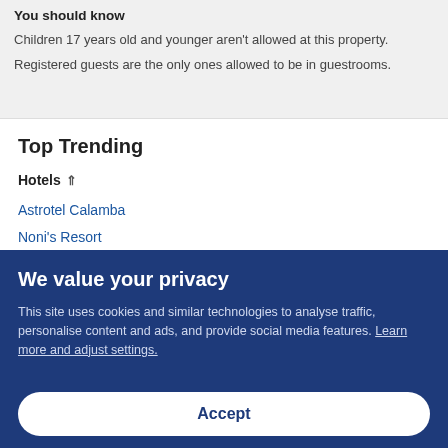You should know
Children 17 years old and younger aren't allowed at this property.
Registered guests are the only ones allowed to be in guestrooms.
Top Trending
Hotels ⇑
Astrotel Calamba
Noni's Resort
Hotel Sogo Pacser
We value your privacy
This site uses cookies and similar technologies to analyse traffic, personalise content and ads, and provide social media features. Learn more and adjust settings.
Accept